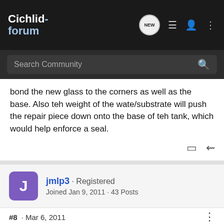Cichlid-forum
bond the new glass to the corners as well as the base. Also teh weight of the wate/substrate will push the repair piece down onto the base of teh tank, which would help enforce a seal.
jmlp3 · Registered
Joined Jan 9, 2011 · 43 Posts
#8 · Mar 6, 2011
Make sure that you clean the area thoroughly.